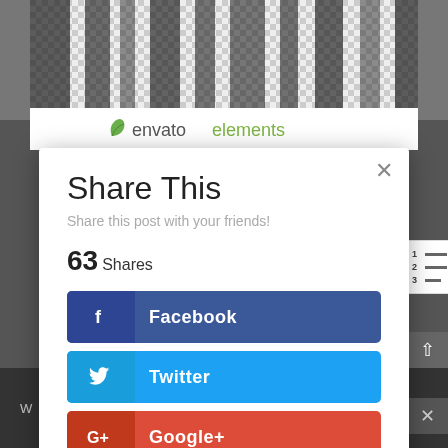[Figure (screenshot): Background with black and white tree/wood texture image with checkered transparency pattern]
[Figure (logo): Envato Elements logo with green leaf icon and text]
[Figure (screenshot): Share This modal dialog with social share buttons for Facebook, Twitter, Google+, and Pinterest showing 63 Shares]
Share This
Share this post with your friends!
63 Shares
Facebook
Twitter
Google+
Pinterest